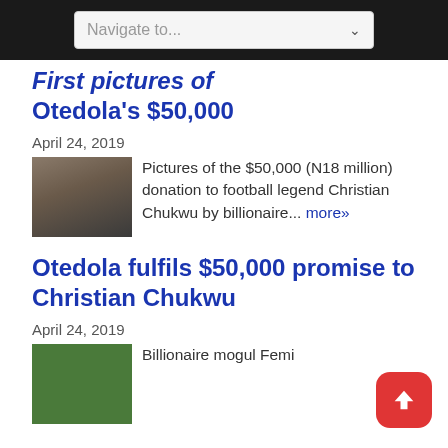Navigate to...
First pictures of Otedola's $50,000 donation to Christian Chukwu emerge
April 24, 2019
Pictures of the $50,000 (N18 million) donation to football legend Christian Chukwu by billionaire... more»
Otedola fulfils $50,000 promise to Christian Chukwu
April 24, 2019
Billionaire mogul Femi